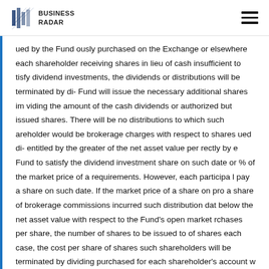BUSINESS RADAR
ued by the Fund ously purchased on the Exchange or elsewhere each shareholder receiving shares in lieu of cash insufficient to tisfy dividend investments, the dividends or distributions will be terminated by di- Fund will issue the necessary additional shares im viding the amount of the cash dividends or authorized but issued shares. There will be no distributions to which such areholder would be brokerage charges with respect to shares ued di- entitled by the greater of the net asset value per rectly by e Fund to satisfy the dividend investment share on such date or % of the market price of a requirements. However, each participa l pay a share on such date. If the market price of a share on pro a share of brokerage commissions incurred such distribution dat below the net asset value with respect to the Fund's open market rchases per share, the number of shares to be issued to of shares each case, the cost per share of shares such shareholders will be terminated by dividing purchased for each shareholder's account w